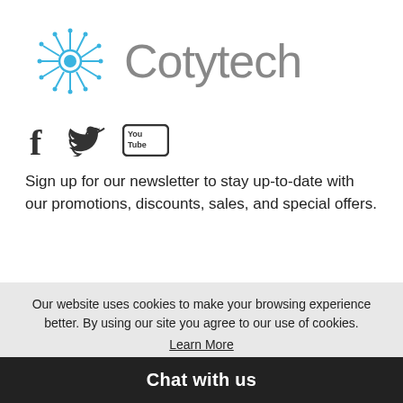[Figure (logo): Cotytech logo with circular tech/gear icon in blue and grey text saying 'Cotytech']
[Figure (infographic): Social media icons: Facebook (f), Twitter (bird), YouTube (You/Tube box)]
Sign up for our newsletter to stay up-to-date with our promotions, discounts, sales, and special offers.
Our website uses cookies to make your browsing experience better. By using our site you agree to our use of cookies.
Learn More
Chat with us